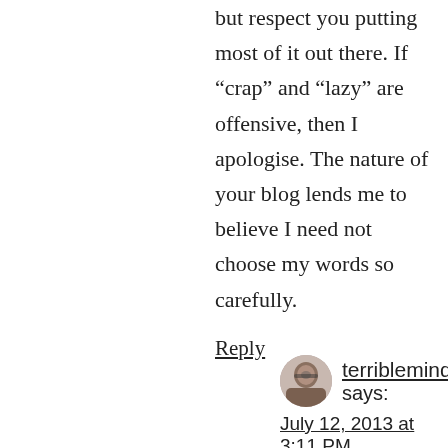but respect you putting most of it out there. If “crap” and “lazy” are offensive, then I apologise. The nature of your blog lends me to believe I need not choose my words so carefully.
Reply
terribleminds says:
July 12, 2013 at 3:11 PM
Nobody said I don’t or haven’t donated